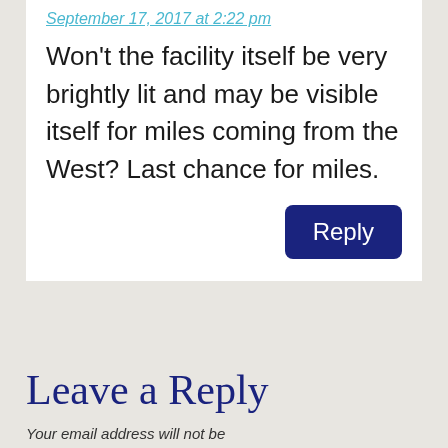September 17, 2017 at 2:22 pm
Won't the facility itself be very brightly lit and may be visible itself for miles coming from the West? Last chance for miles.
Reply
Leave a Reply
Your email address will not be